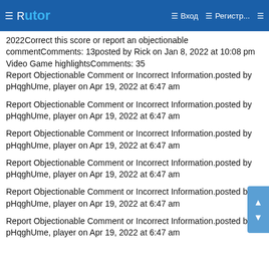☰ Rutor · Вход · Регистр...
2022Correct this score or report an objectionable commentComments: 13posted by Rick on Jan 8, 2022 at 10:08 pm
Video Game highlightsComments: 35
Report Objectionable Comment or Incorrect Information.posted by pHqghUme, player on Apr 19, 2022 at 6:47 am
Report Objectionable Comment or Incorrect Information.posted by pHqghUme, player on Apr 19, 2022 at 6:47 am
Report Objectionable Comment or Incorrect Information.posted by pHqghUme, player on Apr 19, 2022 at 6:47 am
Report Objectionable Comment or Incorrect Information.posted by pHqghUme, player on Apr 19, 2022 at 6:47 am
Report Objectionable Comment or Incorrect Information.posted by pHqghUme, player on Apr 19, 2022 at 6:47 am
Report Objectionable Comment or Incorrect Information.posted by pHqghUme, player on Apr 19, 2022 at 6:47 am